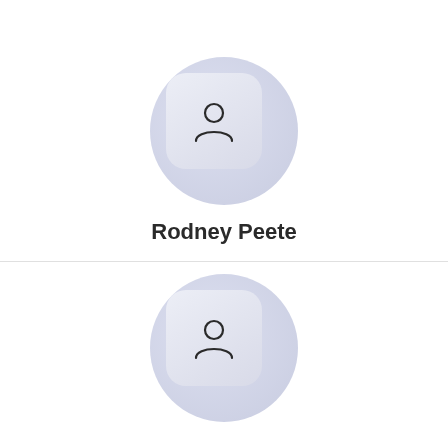[Figure (illustration): User profile avatar icon for Rodney Peete — a circular lavender background with a rounded-square inner tile containing a person silhouette outline icon]
Rodney Peete
[Figure (illustration): User profile avatar icon for Michael Irvin — a circular lavender background with a rounded-square inner tile containing a person silhouette outline icon]
Michael Irvin